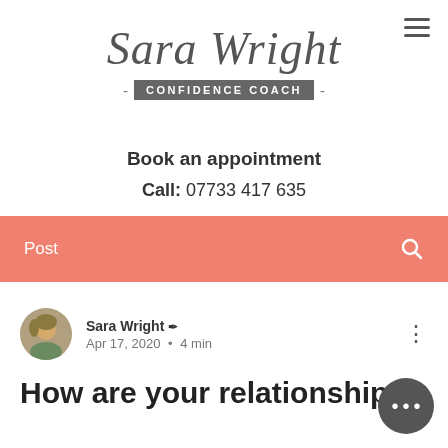Sara Wright - CONFIDENCE COACH -
Book an appointment
Call: 07733 417 635
Post
[Figure (photo): Circular avatar photo of Sara Wright]
Sara Wright ✒ Apr 17, 2020 • 4 min
How are your relationships?
How is your relationship with you... In previous articles we've explored how